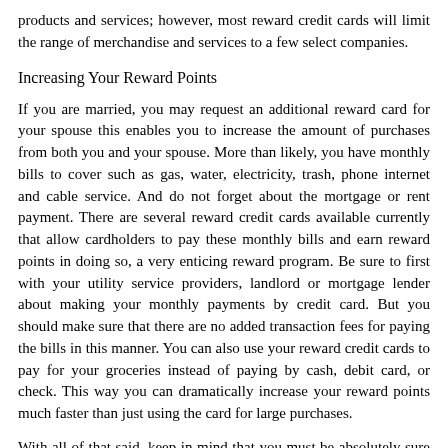products and services; however, most reward credit cards will limit the range of merchandise and services to a few select companies.
Increasing Your Reward Points
If you are married, you may request an additional reward card for your spouse this enables you to increase the amount of purchases from both you and your spouse. More than likely, you have monthly bills to cover such as gas, water, electricity, trash, phone internet and cable service. And do not forget about the mortgage or rent payment. There are several reward credit cards available currently that allow cardholders to pay these monthly bills and earn reward points in doing so, a very enticing reward program. Be sure to first with your utility service providers, landlord or mortgage lender about making your monthly payments by credit card. But you should make sure that there are no added transaction fees for paying the bills in this manner. You can also use your reward credit cards to pay for your groceries instead of paying by cash, debit card, or check. This way you can dramatically increase your reward points much faster than just using the card for large purchases.
With all of that said, keep in mind that you must be absolutely sure that you pay off your card balance each and every month and painstakingly avoid carrying any sort of card balance on reward credit cards. Carrying a balance, in many cases will completely